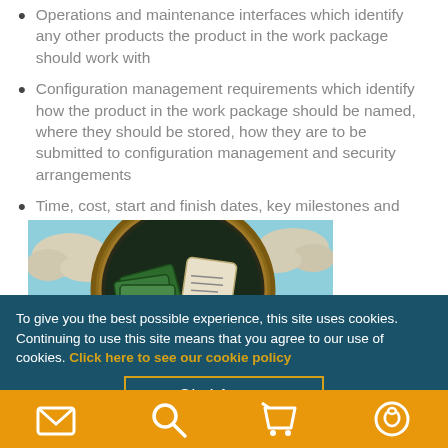Operations and maintenance interfaces which identify any other products the product in the work package should work with
Configuration management requirements which identify how the product in the work package should be named, where they should be stored, how they are to be submitted to configuration management and security arrangements
Time, cost, start and finish dates, key milestones and effort should all be discussed and agreed
[Figure (illustration): Illustrated stopwatch/clock face with money bills and a document inside, against a blue sky with clouds background]
To give you the best possible experience, this site uses cookies. Continuing to use this site means that you agree to our use of cookies. Click here to see our cookie policy
Ok, I Accept